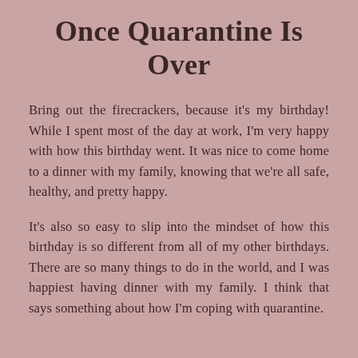Once Quarantine Is Over
Bring out the firecrackers, because it's my birthday! While I spent most of the day at work, I'm very happy with how this birthday went. It was nice to come home to a dinner with my family, knowing that we're all safe, healthy, and pretty happy.
It's also so easy to slip into the mindset of how this birthday is so different from all of my other birthdays. There are so many things to do in the world, and I was happiest having dinner with my family. I think that says something about how I'm coping with quarantine.